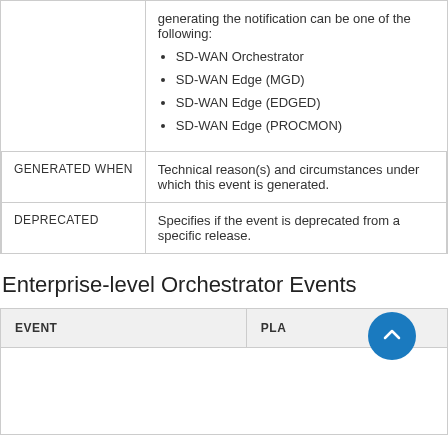|  |  |
| --- | --- |
|  | generating the notification can be one of the following:
• SD-WAN Orchestrator
• SD-WAN Edge (MGD)
• SD-WAN Edge (EDGED)
• SD-WAN Edge (PROCMON) |
| GENERATED WHEN | Technical reason(s) and circumstances under which this event is generated. |
| DEPRECATED | Specifies if the event is deprecated from a specific release. |
Enterprise-level Orchestrator Events
| EVENT | PLA... |
| --- | --- |
|  |  |